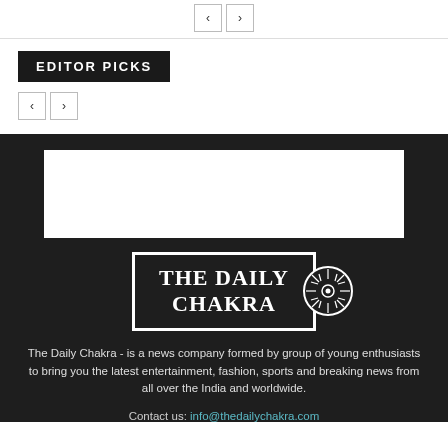< >
EDITOR PICKS
< >
[Figure (other): White rectangle placeholder/ad box in dark background]
[Figure (logo): The Daily Chakra logo: dark rectangle with white serif text and chakra wheel circle]
The Daily Chakra - is a news company formed by group of young enthusiasts to bring you the latest entertainment, fashion, sports and breaking news from all over the India and worldwide.
Contact us: info@thedailychakra.com